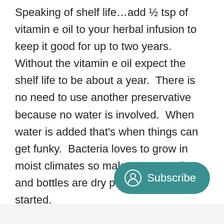Speaking of shelf life…add ½ tsp of vitamin e oil to your herbal infusion to keep it good for up to two years.  Without the vitamin e oil expect the shelf life to be about a year.  There is no need to use another preservative because no water is involved.  When water is added that's when things can get funky.  Bacteria loves to grow in moist climates so make sure your jars and bottles are dry prior to getting started.
[Figure (other): Subscribe button with user icon on teal rounded rectangle background]